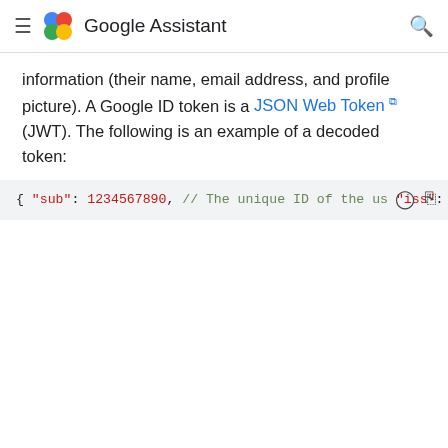Google Assistant
information (their name, email address, and profile picture). A Google ID token is a JSON Web Token (JWT). The following is an example of a decoded token:
[Figure (screenshot): Code block showing a decoded Google ID token JSON with keys: sub, iss, aud, iat, exp, name, given_name, family_name, email, locale and their respective values with inline comments.]